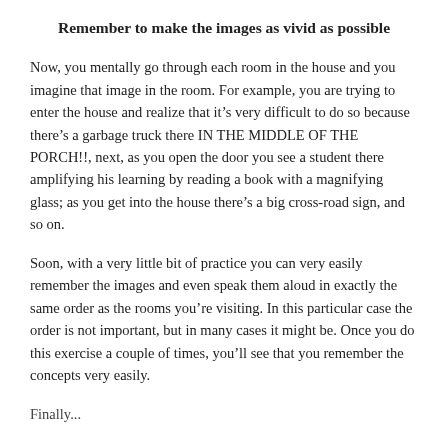Remember to make the images as vivid as possible
Now, you mentally go through each room in the house and you imagine that image in the room. For example, you are trying to enter the house and realize that it’s very difficult to do so because there’s a garbage truck there IN THE MIDDLE OF THE PORCH!!, next, as you open the door you see a student there amplifying his learning by reading a book with a magnifying glass; as you get into the house there’s a big cross-road sign, and so on.
Soon, with a very little bit of practice you can very easily remember the images and even speak them aloud in exactly the same order as the rooms you’re visiting. In this particular case the order is not important, but in many cases it might be. Once you do this exercise a couple of times, you’ll see that you remember the concepts very easily.
Finally...